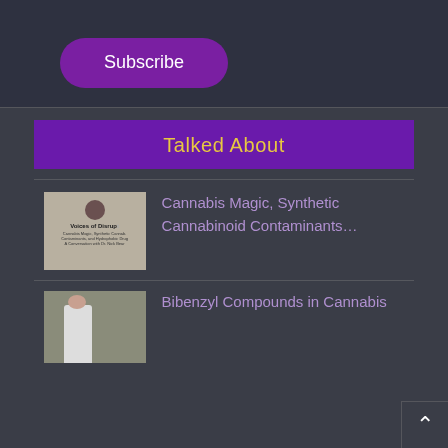[Figure (screenshot): Subscribe button — purple rounded rectangle with white text 'Subscribe' on dark background]
Talked About
[Figure (illustration): Book cover thumbnail: 'Voices of Disruption' — Cannabis Magic, Synthetic Cannabinoid Contaminants, and Hydrophobic Drug, A Conversation with Dr. Nick Bear]
Cannabis Magic, Synthetic Cannabinoid Contaminants…
[Figure (photo): Photo of a person in a white lab coat viewed from behind in a laboratory setting]
Bibenzyl Compounds in Cannabis